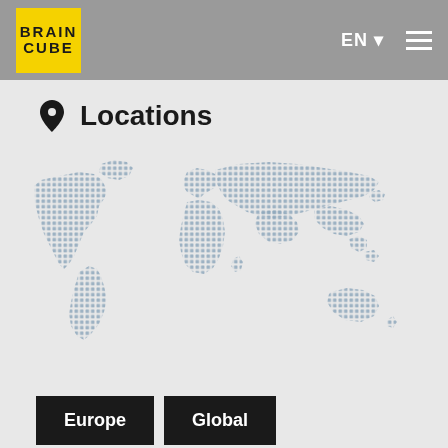BRAIN CUBE  EN  ≡
Locations
[Figure (map): Dotted world map showing continents in blue-grey dots on a light grey background]
Europe
Global